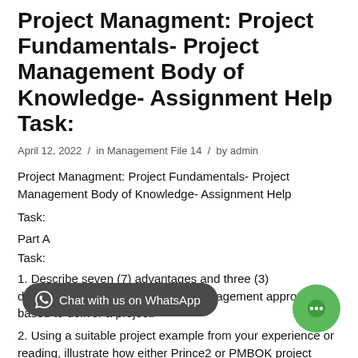Project Managment: Project Fundamentals- Project Management Body of Knowledge- Assignment Help Task:
April 12, 2022  /  in Management File 14  /  by admin
Project Managment: Project Fundamentals- Project Management Body of Knowledge- Assignment Help
Task:
Part A
Task:
1. Describe seven (7) advantages and three (3) disadvantages of using a project management approach based to deliver a project.
2. Using a suitable project example from your experience or reading, illustrate how either Prince2 or PMBOK project compared to the other model (i.e. the comparative strength of the chosen model for a specific project...